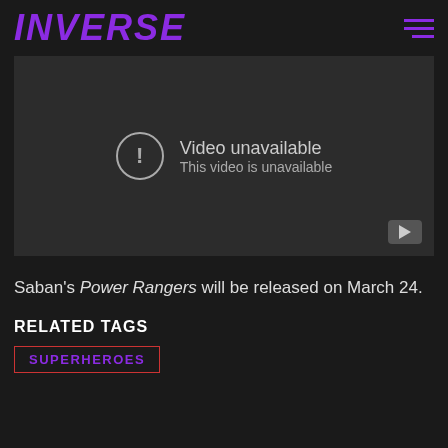INVERSE
[Figure (screenshot): Video player showing 'Video unavailable / This video is unavailable' error message with a circle-exclamation icon and YouTube logo in the bottom right corner.]
Saban's Power Rangers will be released on March 24.
RELATED TAGS
SUPERHEROES